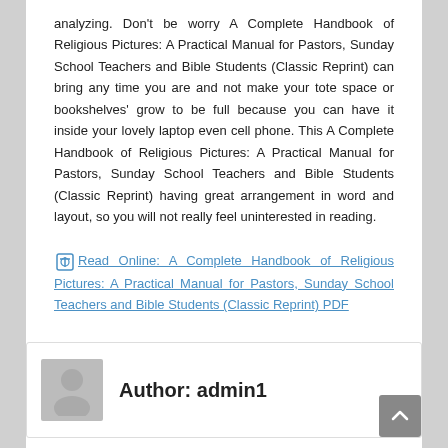analyzing. Don't be worry A Complete Handbook of Religious Pictures: A Practical Manual for Pastors, Sunday School Teachers and Bible Students (Classic Reprint) can bring any time you are and not make your tote space or bookshelves' grow to be full because you can have it inside your lovely laptop even cell phone. This A Complete Handbook of Religious Pictures: A Practical Manual for Pastors, Sunday School Teachers and Bible Students (Classic Reprint) having great arrangement in word and layout, so you will not really feel uninterested in reading.
Read Online: A Complete Handbook of Religious Pictures: A Practical Manual for Pastors, Sunday School Teachers and Bible Students (Classic Reprint) PDF
Author: admin1